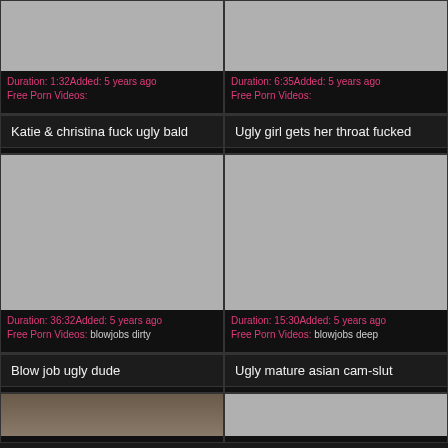[Figure (screenshot): Thumbnail placeholder gray image top-left]
Duration: 1:32Added: 5 years ago Free Porn Videos:
[Figure (screenshot): Thumbnail placeholder gray image top-right]
Duration: 6:35Added: 5 years ago Free Porn Videos:
Katie & christina fuck ugly bald
Ugly girl gets her throat fucked
[Figure (screenshot): Large thumbnail placeholder gray image middle-left]
Duration: 36:32Added: 5 years ago Free Porn Videos: blowjobs dirty
[Figure (screenshot): Large thumbnail placeholder gray image middle-right]
Duration: 15:30Added: 5 years ago Free Porn Videos: blowjobs deep
Blow job ugly dude
Ugly mature asian cam-slut
[Figure (photo): Partial photo bottom-left showing people]
[Figure (photo): Partial gray thumbnail bottom-right]